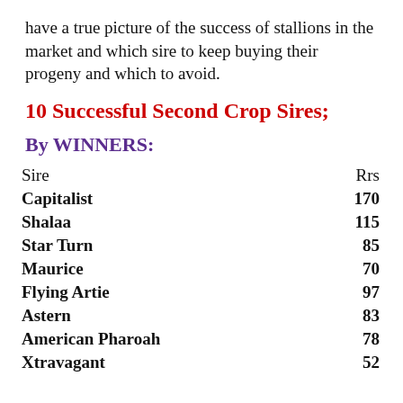have a true picture of the success of stallions in the market and which sire to keep buying their progeny and which to avoid.
10 Successful Second Crop Sires;
By WINNERS:
| Sire | Rrs |
| --- | --- |
| Capitalist | 170 |
| Shalaa | 115 |
| Star Turn | 85 |
| Maurice | 70 |
| Flying Artie | 97 |
| Astern | 83 |
| American Pharoah | 78 |
| Xtravagant | 52 |